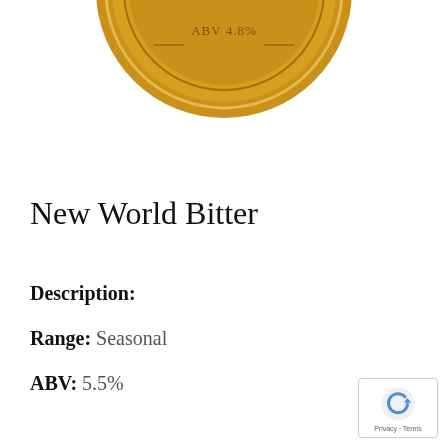[Figure (illustration): Circular golden cask beer badge/logo showing 'CASK BEER' text around the rim and 'ABV 4.8%' in the center, partially cropped at top]
New World Bitter
Description:
Range: Seasonal
ABV: 5.5%